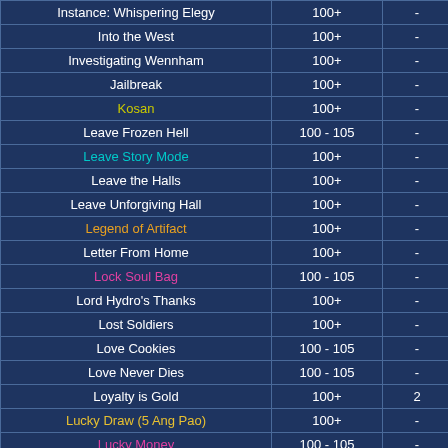| Quest Name | Level | Col3 |
| --- | --- | --- |
| Instance: Whispering Elegy | 100+ | - |
| Into the West | 100+ | - |
| Investigating Wennham | 100+ | - |
| Jailbreak | 100+ | - |
| Kosan | 100+ | - |
| Leave Frozen Hell | 100 - 105 | - |
| Leave Story Mode | 100+ | - |
| Leave the Halls | 100+ | - |
| Leave Unforgiving Hall | 100+ | - |
| Legend of Artifact | 100+ | - |
| Letter From Home | 100+ | - |
| Lock Soul Bag | 100 - 105 | - |
| Lord Hydro's Thanks | 100+ | - |
| Lost Soldiers | 100+ | - |
| Love Cookies | 100 - 105 | - |
| Love Never Dies | 100 - 105 | - |
| Loyalty is Gold | 100+ | 2 |
| Lucky Draw (5 Ang Pao) | 100+ | - |
| Lucky Money | 100 - 105 | - |